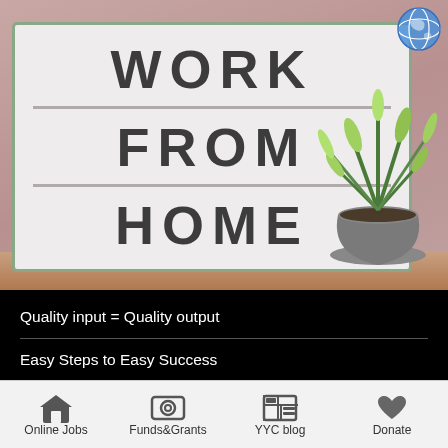[Figure (photo): Photo of a light box sign displaying 'WORK FROM HOME' with a potted succulent plant on the right, on a wooden surface with blurred background. A globe icon is visible in the top-right corner.]
Quality input = Quality output
Easy Steps to Easy Success
Online Jobs | Funds&Grants | YYC blog | Donate